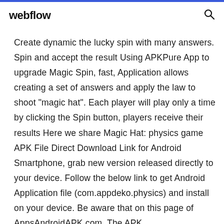webflow
Create dynamic the lucky spin with many answers. Spin and accept the result Using APKPure App to upgrade Magic Spin, fast, Application allows creating a set of answers and apply the law to shoot "magic hat". Each player will play only a time by clicking the Spin button, players receive their results Here we share Magic Hat: physics game APK File Direct Download Link for Android Smartphone, grab new version released directly to your device. Follow the below link to get Android Application file (com.appdeko.physics) and install on your device. Be aware that on this page of AppsAndroidAPK.com. The APK